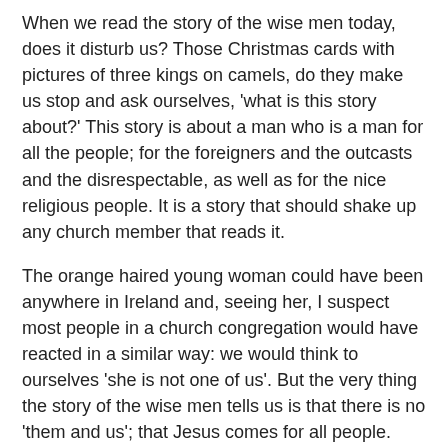When we read the story of the wise men today, does it disturb us? Those Christmas cards with pictures of three kings on camels, do they make us stop and ask ourselves, 'what is this story about?' This story is about a man who is a man for all the people; for the foreigners and the outcasts and the disrespectable, as well as for the nice religious people. It is a story that should shake up any church member that reads it.
The orange haired young woman could have been anywhere in Ireland and, seeing her, I suspect most people in a church congregation would have reacted in a similar way: we would think to ourselves 'she is not one of us'. But the very thing the story of the wise men tells us is that there is no 'them and us'; that Jesus comes for all people.
Jesus could have taken the easy option; he could have saved himself a lot of trouble. If he had said the things the religious leaders wanted to hear, he could have made himself very popular. Yet, right from the beginning, right from the time these foreigners come bringing their gifts of gold, frankincense and myrrh, Jesus is a man who comes to break down barriers.
The story of the wise men should challenge us about what our